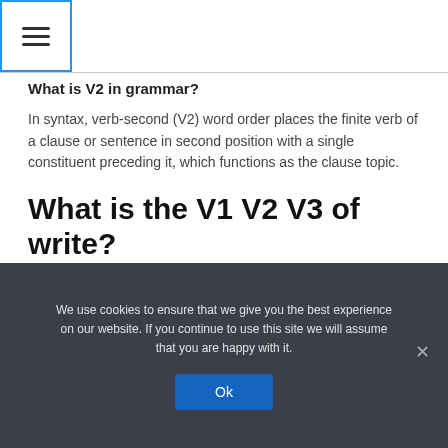☰ (hamburger menu icon)
What is V2 in grammar?
In syntax, verb-second (V2) word order places the finite verb of a clause or sentence in second position with a single constituent preceding it, which functions as the clause topic.
What is the V1 V2 V3 of write?
Write Past Simple, Simple Past Tense of Write, Past Participle, V1 V2 V3 Form Of Write.
We use cookies to ensure that we give you the best experience on our website. If you continue to use this site we will assume that you are happy with it.